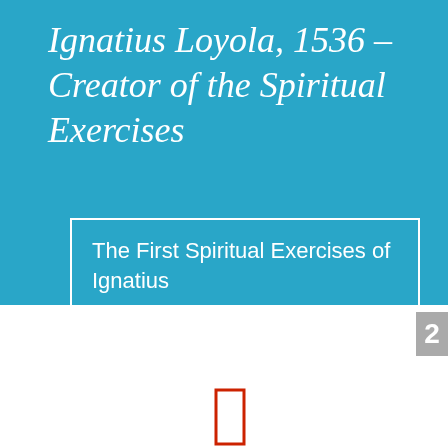Ignatius Loyola, 1536 – Creator of the Spiritual Exercises
The First Spiritual Exercises of Ignatius
2